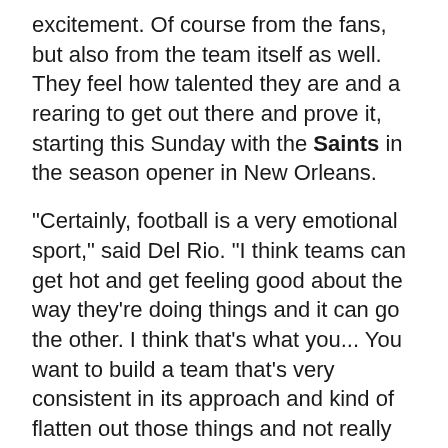excitement. Of course from the fans, but also from the team itself as well. They feel how talented they are and a rearing to get out there and prove it, starting this Sunday with the Saints in the season opener in New Orleans.
"Certainly, football is a very emotional sport," said Del Rio. "I think teams can get hot and get feeling good about the way they're doing things and it can go the other. I think that's what you... You want to build a team that's very consistent in its approach and kind of flatten out those things and not really try to play on pure emotion, but try to play on preparation and effort and go out there and compete every play."
Another potential issue could be overzealousness. It's similar to the issue the team was claiming to have on